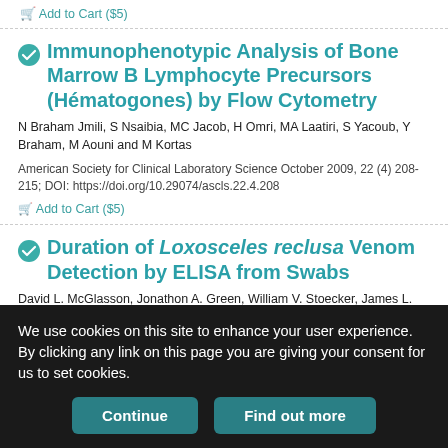Add to Cart ($5)
Immunophenotypic Analysis of Bone Marrow B Lymphocyte Precursors (Hématogones) by Flow Cytometry
N Braham Jmili, S Nsaibia, MC Jacob, H Omri, MA Laatiri, S Yacoub, Y Braham, M Aouni and M Kortas
American Society for Clinical Laboratory Science October 2009, 22 (4) 208-215; DOI: https://doi.org/10.29074/ascls.22.4.208
Add to Cart ($5)
Duration of Loxosceles reclusa Venom Detection by ELISA from Swabs
David L. McGlasson, Jonathon A. Green, William V. Stoecker, James L. Babcock and David A. Calcara
We use cookies on this site to enhance your user experience. By clicking any link on this page you are giving your consent for us to set cookies.